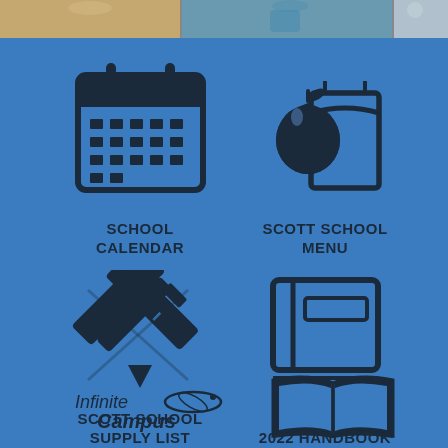[Figure (photo): Top banner with partial photos of children at school]
[Figure (illustration): Calendar icon for School Calendar]
SCHOOL CALENDAR
[Figure (illustration): Apple and lunch bag icon for Scott School Menu]
SCOTT SCHOOL MENU
[Figure (illustration): Pencil and ruler crossed icon for Scott School Supply List]
SCOTT SCHOOL SUPPLY LIST
[Figure (illustration): Book/notebook icon for Scott 2021-2022 Handbook]
SCOTT 2021-2022 HANDBOOK
[Figure (logo): Infinite Campus logo]
[Figure (illustration): Open book icon at bottom right]